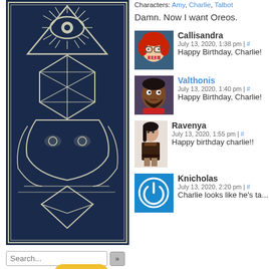[Figure (illustration): Dark blue and grey linework illustration of an illuminati-style eye-in-triangle with geometric icosahedron shape and symmetrical owl/beast imagery below]
Characters: Amy, Charlie, Talbot
Damn. Now I want Oreos.
[Figure (illustration): Avatar of Callisandra - cartoon character with red hair and glasses, laughing expression]
Callisandra
July 13, 2020, 1:38 pm | #
Happy Birthday, Charlie!!
[Figure (illustration): Avatar of Valthonis - dark-skinned man with beard, illustrated style]
Valthonis
July 13, 2020, 1:40 pm | #
Happy Birthday, Charlie!!
[Figure (illustration): Avatar of Ravenya - dark-haired woman in fantasy armor]
Ravenya
July 13, 2020, 1:55 pm | #
Happy birthday charlie!!
[Figure (illustration): Avatar of Knicholas - blue circular icon with power/link symbol]
Knicholas
July 13, 2020, 2:20 pm | #
Charlie looks like he's ta...